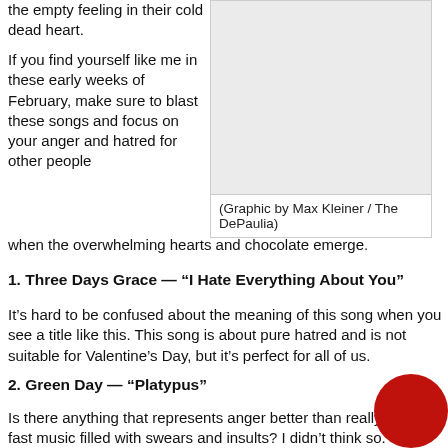the empty feeling in their cold dead heart.
[Figure (illustration): Gray placeholder graphic box]
(Graphic by Max Kleiner / The DePaulia)
If you find yourself like me in these early weeks of February, make sure to blast these songs and focus on your anger and hatred for other people when the overwhelming hearts and chocolate emerge.
1. Three Days Grace — “I Hate Everything About You”
It’s hard to be confused about the meaning of this song when you see a title like this. This song is about pure hatred and is not suitable for Valentine’s Day, but it’s perfect for all of us.
2. Green Day — “Platypus”
Is there anything that represents anger better than really fast music filled with swears and insults? I didn’t think so. In Green most anger-filled song not directed at George W. Bush, frontman